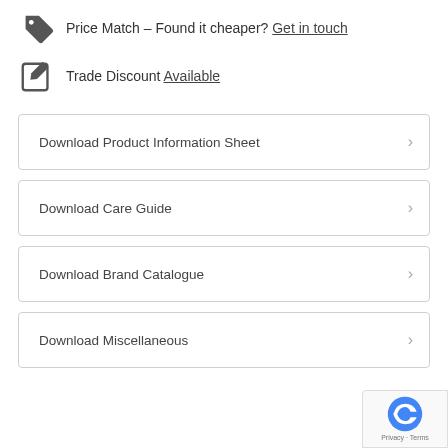Price Match – Found it cheaper? Get in touch
Trade Discount Available
Download Product Information Sheet
Download Care Guide
Download Brand Catalogue
Download Miscellaneous